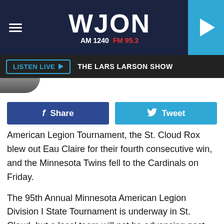[Figure (screenshot): WJON radio station header with logo showing AM 1240 FM 95.3, hamburger menu icon on left, play button on right]
LISTEN LIVE ▶  THE LARS LARSON SHOW
[Figure (photo): Partial avatar/profile image cropped at top]
f Share
Tweet
American Legion Tournament, the St. Cloud Rox blew out Eau Claire for their fourth consecutive win, and the Minnesota Twins fell to the Cardinals on Friday.
The 95th Annual Minnesota American Legion Division I State Tournament is underway in St. Cloud, but a local team will not be advancing past the pool play round. The St. Cloud Chutes split Thursday's games against Tri-City Red and Rosemount to remain tied with the other three teams in pool one. Then on Friday, St. Cloud fell to Grand Rapids 11-3 to